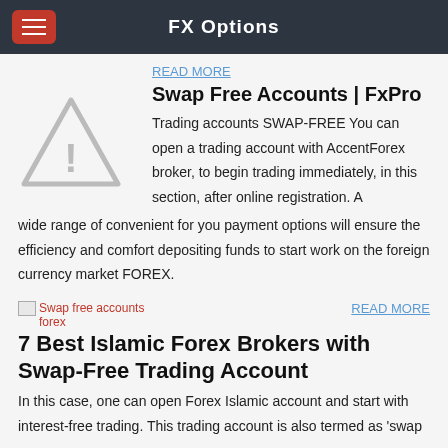FX Options
READ MORE
Swap Free Accounts | FxPro
Trading accounts SWAP-FREE You can open a trading account with AccentForex broker, to begin trading immediately, in this section, after online registration. A wide range of convenient for you payment options will ensure the efficiency and comfort depositing funds to start work on the foreign currency market FOREX.
[Figure (illustration): Gray triangle warning/alert icon]
READ MORE
[Figure (photo): Broken image placeholder labeled 'Swap free accounts forex']
7 Best Islamic Forex Brokers with Swap-Free Trading Account
In this case, one can open Forex Islamic account and start with interest-free trading. This trading account is also termed as 'swap